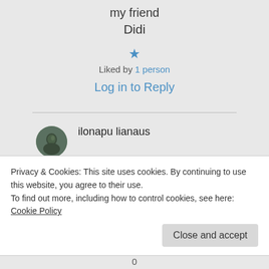my friend
Didi
★ Liked by 1 person
Log in to Reply
ilonapu lianaus kaite on 04/04/
Privacy & Cookies: This site uses cookies. By continuing to use this website, you agree to their use. To find out more, including how to control cookies, see here: Cookie Policy
Close and accept
0